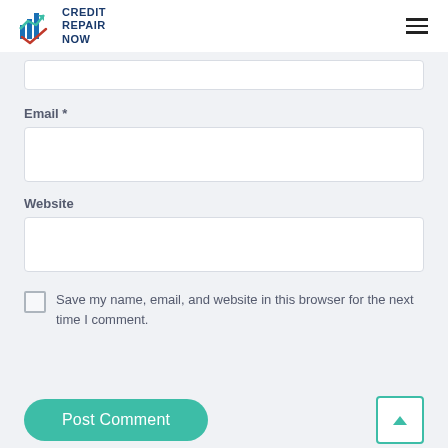CREDIT REPAIR NOW
(top input box — partially visible)
Email *
(email input box)
Website
(website input box)
Save my name, email, and website in this browser for the next time I comment.
Post Comment